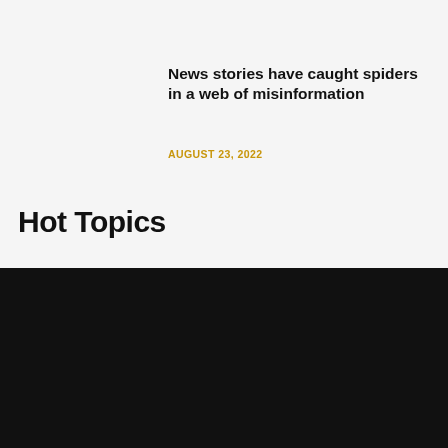News stories have caught spiders in a web of misinformation
AUGUST 23, 2022
Hot Topics
We use cookies on our website to give you the most relevant experience by remembering your preferences and repeat visits. By clicking "Accept All", you consent to the use of ALL the cookies. However, you may visit "Cookie Settings" to provide a controlled consent.
Cookie Settings
Accept All